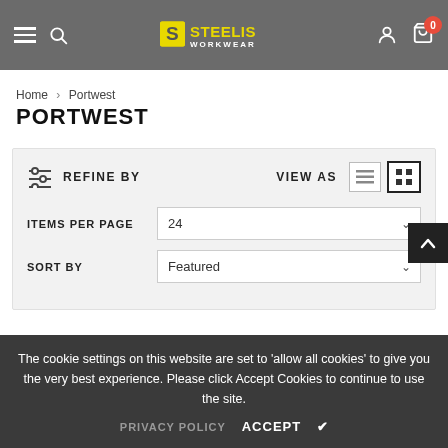Steelis Workwear — navigation header with logo, search, account, cart (0)
Home > Portwest
PORTWEST
REFINE BY | VIEW AS | ITEMS PER PAGE: 24 | SORT BY: Featured
The cookie settings on this website are set to 'allow all cookies' to give you the very best experience. Please click Accept Cookies to continue to use the site.
PRIVACY POLICY  ACCEPT ✔